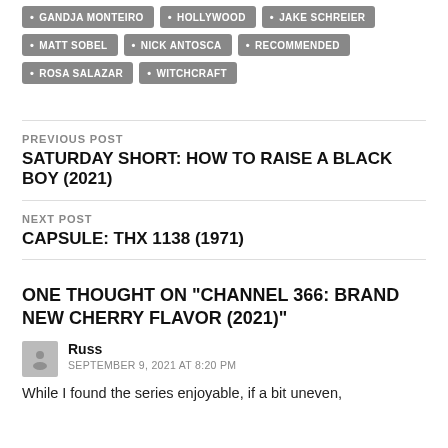GANDJA MONTEIRO
HOLLYWOOD
JAKE SCHREIER
MATT SOBEL
NICK ANTOSCA
RECOMMENDED
ROSA SALAZAR
WITCHCRAFT
PREVIOUS POST
SATURDAY SHORT: HOW TO RAISE A BLACK BOY (2021)
NEXT POST
CAPSULE: THX 1138 (1971)
ONE THOUGHT ON “CHANNEL 366: BRAND NEW CHERRY FLAVOR (2021)”
Russ
SEPTEMBER 9, 2021 AT 8:20 PM
While I found the series enjoyable, if a bit uneven,